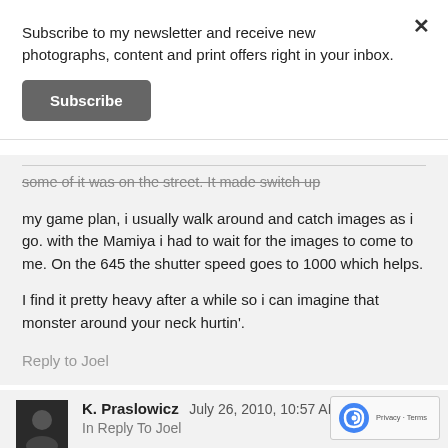Subscribe to my newsletter and receive new photographs, content and print offers right in your inbox.
Subscribe
some of it was on the street. It made switch up my game plan, i usually walk around and catch images as i go. with the Mamiya i had to wait for the images to come to me. On the 645 the shutter speed goes to 1000 which helps.
I find it pretty heavy after a while so i can imagine that monster around your neck hurtin'.
Reply to Joel
K. Praslowicz  July 26, 2010, 10:57 AM
In Reply To Joel